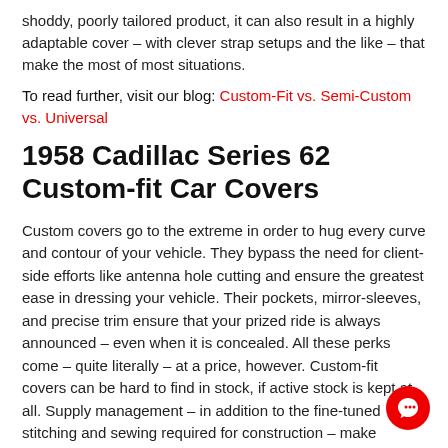shoddy, poorly tailored product, it can also result in a highly adaptable cover – with clever strap setups and the like – that make the most of most situations.
To read further, visit our blog: Custom-Fit vs. Semi-Custom vs. Universal
1958 Cadillac Series 62 Custom-fit Car Covers
Custom covers go to the extreme in order to hug every curve and contour of your vehicle. They bypass the need for client-side efforts like antenna hole cutting and ensure the greatest ease in dressing your vehicle. Their pockets, mirror-sleeves, and precise trim ensure that your prized ride is always announced – even when it is concealed. All these perks come – quite literally – at a price, however. Custom-fit covers can be hard to find in stock, if active stock is kept at all. Supply management – in addition to the fine-tuned stitching and sewing required for construction – make custom covers the most expensive and patience-demanding covers to invest in. Perhaps, most importantly, fully customized covers make a